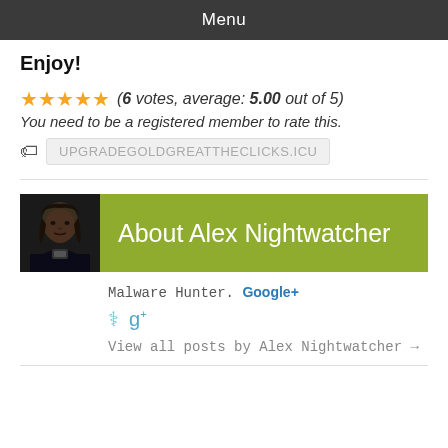Menu
Enjoy!
(6 votes, average: 5.00 out of 5)
You need to be a registered member to rate this.
UPGRADEGOLDGREATTHECLICKS.ICU
[Figure (photo): Author photo of Alex Nightwatcher]
About Alex Nightwatcher
Malware Hunter. Google+
View all posts by Alex Nightwatcher →